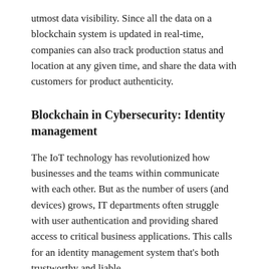utmost data visibility. Since all the data on a blockchain system is updated in real-time, companies can also track production status and location at any given time, and share the data with customers for product authenticity.
Blockchain in Cybersecurity: Identity management
The IoT technology has revolutionized how businesses and the teams within communicate with each other. But as the number of users (and devices) grows, IT departments often struggle with user authentication and providing shared access to critical business applications. This calls for an identity management system that's both trustworthy and liable.